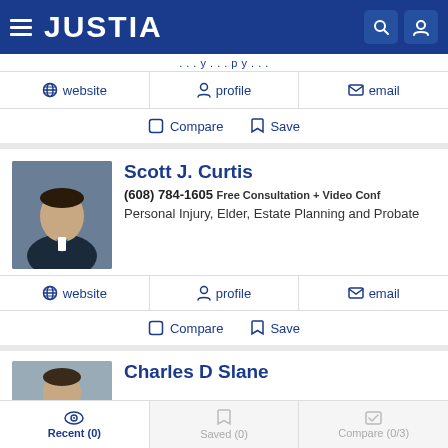JUSTIA
...y...y...
website  profile  email
Compare  Save
Scott J. Curtis
(608) 784-1605 Free Consultation + Video Conf
Personal Injury, Elder, Estate Planning and Probate
website  profile  email
Compare  Save
Charles D Slane
Recent (0)  Saved (0)  Compare (0/3)